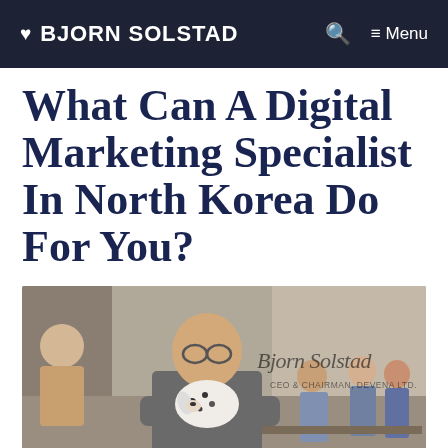❤ BJORN SOLSTAD  🔍  ☰ Menu
What Can A Digital Marketing Specialist In North Korea Do For You?
[Figure (photo): A bald man wearing glasses sitting in a café holding a small dalmatian puppy. Behind him is a cursive signature watermark reading 'Bjorn Solstad – CEO & Chairman, Devena Ltd.' Other café patrons visible in background.]